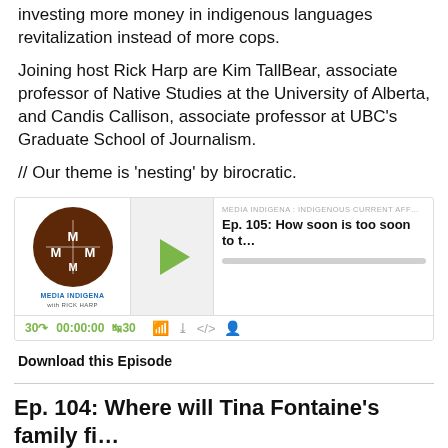investing more money in indigenous languages revitalization instead of more cops.
Joining host Rick Harp are Kim TallBear, associate professor of Native Studies at the University of Alberta, and Candis Callison, associate professor at UBC's Graduate School of Journalism.
// Our theme is 'nesting' by birocratic.
[Figure (other): Podcast player widget for Media Indigena episode 105. Shows logo, play button, episode title 'Ep. 105: How soon is too soon to t...', progress bar, and controls showing 00:00:00 time.]
Download this Episode
Ep. 104: Where will Tina Fontaine's family fi...
Mar 2, 2018
This week: A tale of two trials. Late last week, a jury found the man accused of murdering 15-year old Tina Fontaine to be "not guilty." The decision